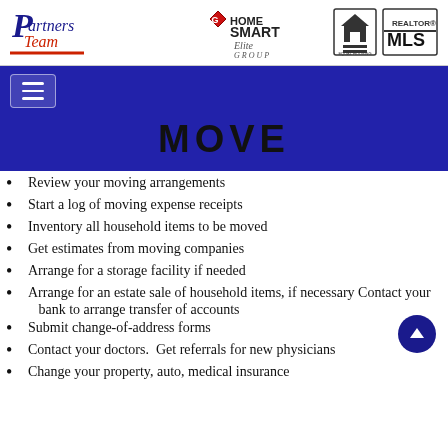[Figure (logo): Partners Team logo in blue and red italic script]
[Figure (logo): HomeSmart Elite Group logo with diamond icon]
[Figure (logo): Equal Housing Opportunity logo]
[Figure (logo): Realtor MLS logo]
MOVE
Review your moving arrangements
Start a log of moving expense receipts
Inventory all household items to be moved
Get estimates from moving companies
Arrange for a storage facility if needed
Arrange for an estate sale of household items, if necessary Contact your    bank to arrange transfer of accounts
Submit change-of-address forms
Contact your doctors.  Get referrals for new physicians
Change your property, auto, medical insurance